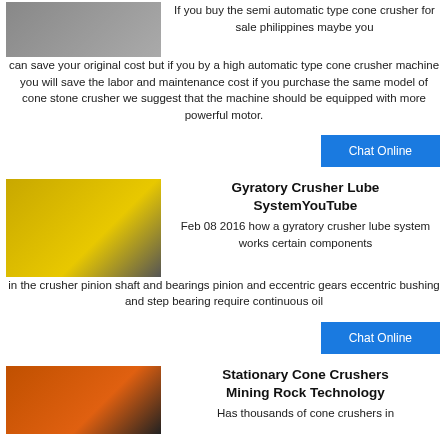[Figure (photo): Industrial cone crusher machine in a factory/warehouse setting, grayscale/dark tones]
If you buy the semi automatic type cone crusher for sale philippines maybe you can save your original cost but if you by a high automatic type cone crusher machine you will save the labor and maintenance cost if you purchase the same model of cone stone crusher we suggest that the machine should be equipped with more powerful motor.
Chat Online
[Figure (photo): Yellow gyratory/cone crusher machine photographed from the side]
Gyratory Crusher Lube SystemYouTube
Feb 08 2016  how a gyratory crusher lube system works certain components in the crusher pinion shaft and bearings pinion and eccentric gears eccentric bushing and step bearing require continuous oil
Chat Online
[Figure (photo): Orange stationary cone crusher machine, industrial setting]
Stationary Cone Crushers Mining Rock Technology
Has thousands of cone crushers in